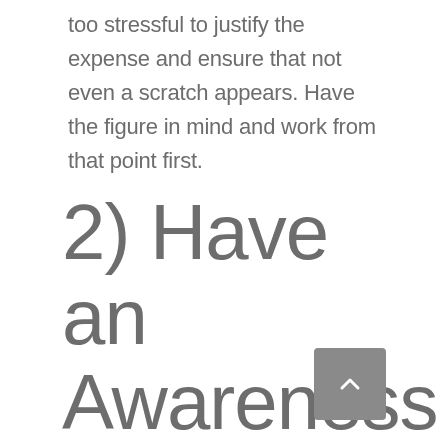too stressful to justify the expense and ensure that not even a scratch appears. Have the figure in mind and work from that point first.
2) Have an Awareness for Domestic Colour Tone